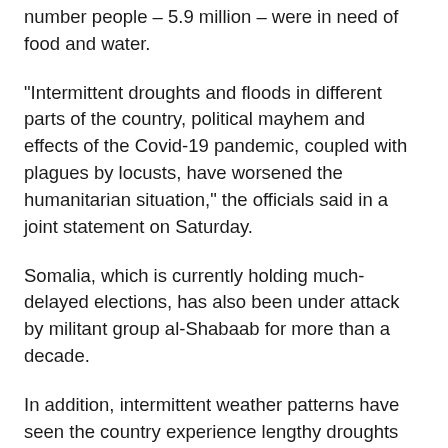number people – 5.9 million – were in need of food and water.
“Intermittent droughts and floods in different parts of the country, political mayhem and effects of the Covid-19 pandemic, coupled with plagues by locusts, have worsened the humanitarian situation,” the officials said in a joint statement on Saturday.
Somalia, which is currently holding much-delayed elections, has also been under attack by militant group al-Shabaab for more than a decade.
In addition, intermittent weather patterns have seen the country experience lengthy droughts and floods in the last seven years.
In May, officials were scrambling to rescue several people trapped by floods in central regions. The country had experienced two of its biggest droughts in the last 10 years,